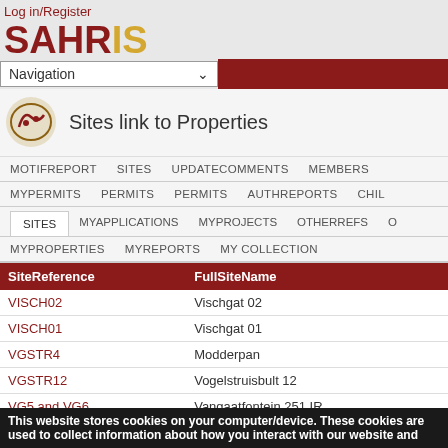Log in/Register
SAHRIS
Navigation
Sites link to Properties
MOTIFREPORT   SITES   UPDATECOMMENTS   MEMBERS
MYPERMITS   PERMITS   PERMITS   AUTHREPORTS   CHILD
SITES   MYAPPLICATIONS   MYPROJECTS   OTHERREFS
MYPROPERTIES   MYREPORTS   MY COLLECTION
| SiteReference | FullSiteName |
| --- | --- |
| VISCH02 | Vischgat 02 |
| VISCH01 | Vischgat 01 |
| VGSTR4 | Modderpan |
| VGSTR12 | Vogelstruisbult 12 |
| VG5 and VG6 | Vangaatfontein 251 IR |
This website stores cookies on your computer/device. These cookies are used to collect information about how you interact with our website and